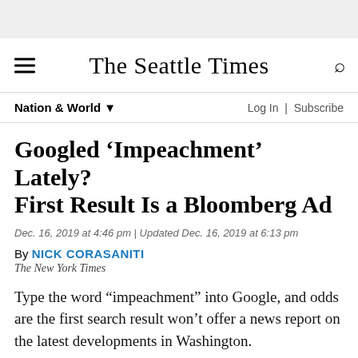The Seattle Times
Nation & World
Googled ‘Impeachment’ Lately? First Result Is a Bloomberg Ad
Dec. 16, 2019 at 4:46 pm | Updated Dec. 16, 2019 at 6:13 pm
By NICK CORASANITI
The New York Times
Type the word “impeachment” into Google, and odds are the first search result won’t offer a news report on the latest developments in Washington.